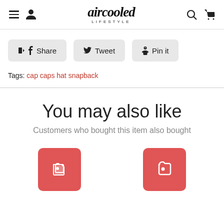aircooled LIFESTYLE
Share  Tweet  Pin it
Tags: cap  caps  hat  snapback
You may also like
Customers who bought this item also bought
[Figure (illustration): Two red product placeholder boxes with white tag icons]
[Figure (logo): Aircooled Lifestyle brand logo in blackletter/gothic font with LIFESTYLE subtitle]